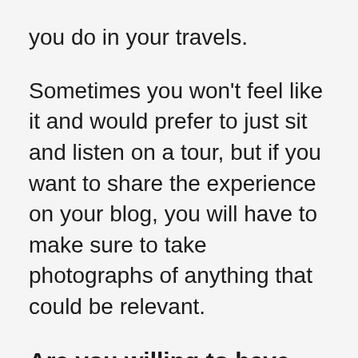you do in your travels.
Sometimes you won’t feel like it and would prefer to just sit and listen on a tour, but if you want to share the experience on your blog, you will have to make sure to take photographs of anything that could be relevant.
Are you willing to have